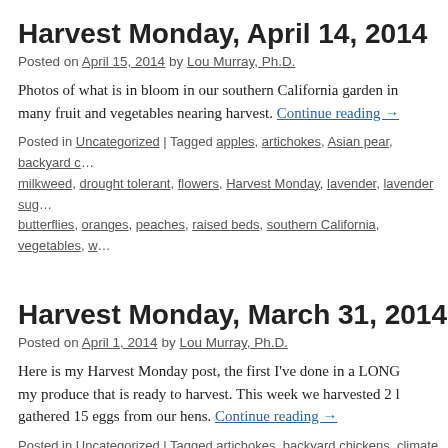Harvest Monday, April 14, 2014
Posted on April 15, 2014 by Lou Murray, Ph.D.
Photos of what is in bloom in our southern California garden in many fruit and vegetables nearing harvest. Continue reading →
Posted in Uncategorized | Tagged apples, artichokes, Asian pear, backyard c... milkweed, drought tolerant, flowers, Harvest Monday, lavender, lavender sug... butterflies, oranges, peaches, raised beds, southern California, vegetables, w...
Harvest Monday, March 31, 2014
Posted on April 1, 2014 by Lou Murray, Ph.D.
Here is my Harvest Monday post, the first I've done in a LONG... my produce that is ready to harvest. This week we harvested 2 l... gathered 15 eggs from our hens. Continue reading →
Posted in Uncategorized | Tagged artichokes, backyard chickens, climate cha... Komatsuna, lettuce, photos, southern California, vegetable garden | 9 Comm...